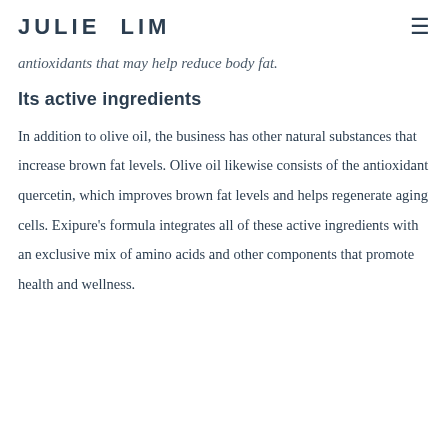JULIE LIM
antioxidants that may help reduce body fat.
Its active ingredients
In addition to olive oil, the business has other natural substances that increase brown fat levels. Olive oil likewise consists of the antioxidant quercetin, which improves brown fat levels and helps regenerate aging cells. Exipure's formula integrates all of these active ingredients with an exclusive mix of amino acids and other components that promote health and wellness.